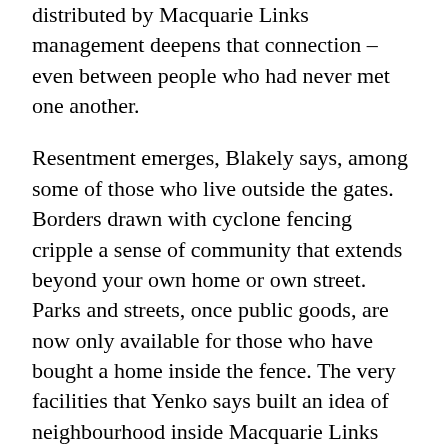distributed by Macquarie Links management deepens that connection – even between people who had never met one another.
Resentment emerges, Blakely says, among some of those who live outside the gates. Borders drawn with cyclone fencing cripple a sense of community that extends beyond your own home or own street. Parks and streets, once public goods, are now only available for those who have bought a home inside the fence. The very facilities that Yenko says built an idea of neighbourhood inside Macquarie Links weaken any broader community.
A community premised upon the erection of physical barriers between them and the rest is arguably not built upon similarity but difference.